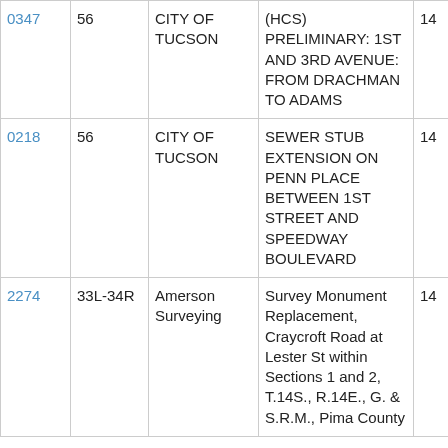| 0347 | 56 | CITY OF TUCSON | (HCS) PRELIMINARY: 1ST AND 3RD AVENUE: FROM DRACHMAN TO ADAMS | 14 |
| 0218 | 56 | CITY OF TUCSON | SEWER STUB EXTENSION ON PENN PLACE BETWEEN 1ST STREET AND SPEEDWAY BOULEVARD | 14 |
| 2274 | 33L-34R | Amerson Surveying | Survey Monument Replacement, Craycroft Road at Lester St within Sections 1 and 2, T.14S., R.14E., G. & S.R.M., Pima County | 14 |